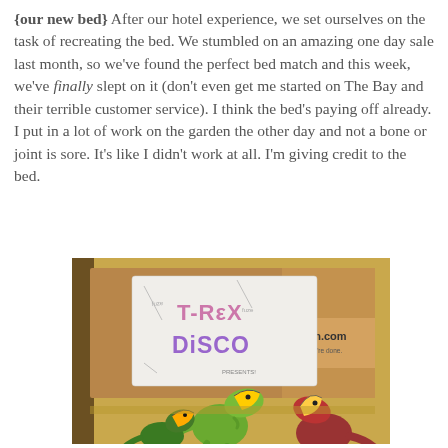{our new bed} After our hotel experience, we set ourselves on the task of recreating the bed. We stumbled on an amazing one day sale last month, so we've found the perfect bed match and this week, we've finally slept on it (don't even get me started on The Bay and their terrible customer service). I think the bed's paying off already. I put in a lot of work on the garden the other day and not a bone or joint is sore. It's like I didn't work at all. I'm giving credit to the bed.
[Figure (photo): Photo of two plastic dinosaur toys (T-Rex figures, one green and one red/maroon) posed in front of a cardboard Amazon box with a handmade sign reading 'T-REX DISCO' in colorful letters.]